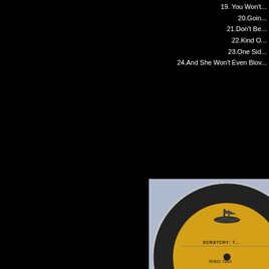19. You Won't...
20.Goin...
21.Don't Be...
22.Kind O...
23.One Sid...
24.And She Won't Even Blov...
[Figure (photo): A yellow vinyl record disc with black label text reading SCRATCHY: T... and RHM2 7884, partially cropped, shown against a light blue/purple background]